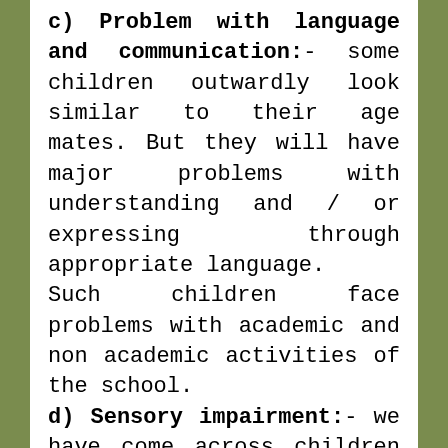c) Problem with language and communication:- some children outwardly look similar to their age mates. But they will have major problems with understanding and / or expressing through appropriate language. Such children face problems with academic and non academic activities of the school. d) Sensory impairment:- we have come across children in